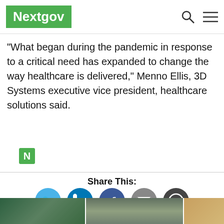Nextgov
“What began during the pandemic in response to a critical need has expanded to change the way healthcare is delivered,” Menno Ellis, 3D Systems executive vice president, healthcare solutions said.
[Figure (logo): Nextgov N icon in green square]
Share This:
[Figure (infographic): Social sharing icons: Twitter, LinkedIn, Facebook, Email, Comments]
NEXT STORY: Energy Wants Software Sophisticated Enough to Run on Exascale Supercomputers
[Figure (photo): Three thumbnail images at the bottom of the page]